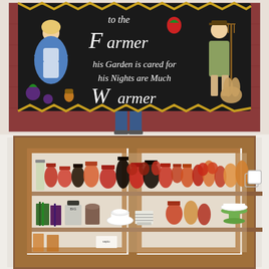[Figure (photo): A person holding up a large dark needlework/punch needle rug or wall hanging against a red barn wall. The rug has a black background with cream/white text reading 'to the Farmer his Garden is cared for his Nights are Much Warmer' with folk art depictions of a woman in a blue dress and a man in overalls holding a pitchfork, along with decorative fruit/vegetable motifs. A yellow zigzag border frames the rug.]
[Figure (photo): A wooden display cabinet with glass-paned doors open, showing three shelves filled with various jars, candles, and decorative items in earthy tones of red, brown, orange, and green. The cabinet appears to be a retail or home display.]